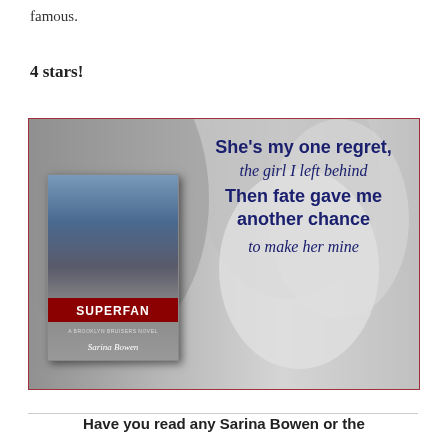famous.
4 stars!
[Figure (illustration): Promotional book image for 'Superfan' by Sarina Bowen. Background is a grayscale photo of a couple embracing. A smaller inset book cover shows the title 'SUPERFAN' with a shirtless man and the author name 'Sarina Bowen'. Text overlay reads: 'She’s my one regret, the girl I left behind. Then fate gave me another chance to make her mine']
Have you read any Sarina Bowen or the